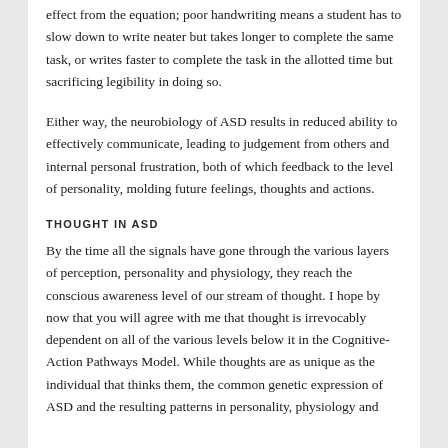effect from the equation; poor handwriting means a student has to slow down to write neater but takes longer to complete the same task, or writes faster to complete the task in the allotted time but sacrificing legibility in doing so.
Either way, the neurobiology of ASD results in reduced ability to effectively communicate, leading to judgement from others and internal personal frustration, both of which feedback to the level of personality, molding future feelings, thoughts and actions.
THOUGHT IN ASD
By the time all the signals have gone through the various layers of perception, personality and physiology, they reach the conscious awareness level of our stream of thought. I hope by now that you will agree with me that thought is irrevocably dependent on all of the various levels below it in the Cognitive-Action Pathways Model. While thoughts are as unique as the individual that thinks them, the common genetic expression of ASD and the resulting patterns in personality, physiology and